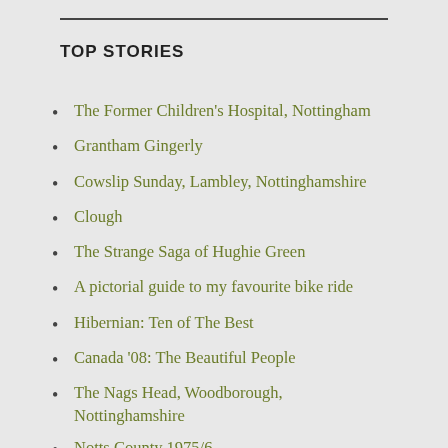TOP STORIES
The Former Children's Hospital, Nottingham
Grantham Gingerly
Cowslip Sunday, Lambley, Nottinghamshire
Clough
The Strange Saga of Hughie Green
A pictorial guide to my favourite bike ride
Hibernian: Ten of The Best
Canada '08: The Beautiful People
The Nags Head, Woodborough, Nottinghamshire
Notts County 1975/6